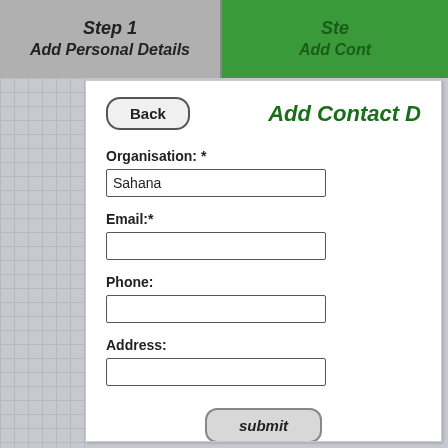Step 1
Add Personal Details
Ste
Add Cont
[Figure (screenshot): Web form UI showing 'Add Contact Details' page with Back button, form fields: Organisation (filled with 'Sahana'), Email, Phone, Address, and a submit button]
Organisation: *
Sahana
Email:*
Phone:
Address:
submit